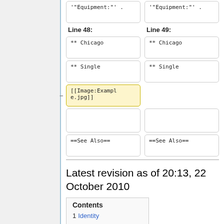'"Equipment:"' .
'"Equipment:"' .
Line 48:
Line 49:
** Chicago
** Chicago
** Single
** Single
[[Image:Example.jpg]]
==See Also==
==See Also==
Latest revision as of 20:13, 22 October 2010
| Contents |
| --- |
| 1 Identity |
| 2 Tidbits |
| 3 History |